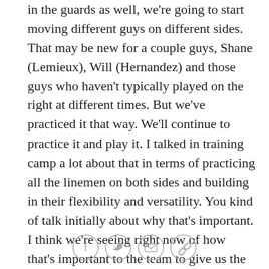in the guards as well, we're going to start moving different guys on different sides. That may be new for a couple guys, Shane (Lemieux), Will (Hernandez) and those guys who haven't typically played on the right at different times. But we've practiced it that way. We'll continue to practice it and play it. I talked in training camp a lot about that in terms of practicing all the linemen on both sides and building in their flexibility and versatility. You kind of talk initially about why that's important. I think we're seeing right now of how that's important to the team to give us the opportunity in games of playing different guys on both sides. We're not looking to play musical chairs just to confuse everybody. We're just looking to make sure we keep building our team's depth and get everyone an opportunity to get on the field and contribute.
[Figure (infographic): Four social sharing icon circles: Facebook (f), Twitter (bird), Email (envelope), Link/chain icon]